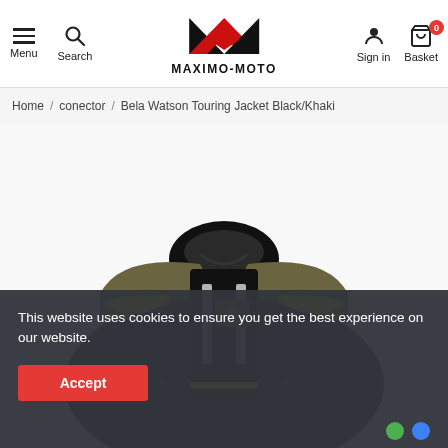MAXIMO-MOTO — Menu, Search, Sign in, Basket (0)
Home / conector / Bela Watson Touring Jacket Black/Khaki
Reduced price
[Figure (photo): Bela Watson Touring Jacket in black and khaki/olive with yellow-green hi-vis accents and reflective strips, shown from the front/side angle without a model.]
This website uses cookies to ensure you get the best experience on our website.
Accept